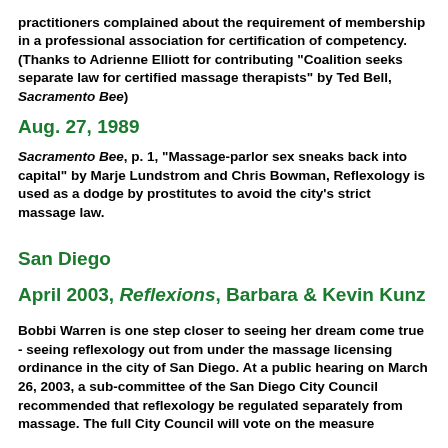practitioners complained about the requirement of membership in a professional association for certification of competency. (Thanks to Adrienne Elliott for contributing "Coalition seeks separate law for certified massage therapists" by Ted Bell, Sacramento Bee)
Aug. 27, 1989
Sacramento Bee, p. 1, "Massage-parlor sex sneaks back into capital" by Marje Lundstrom and Chris Bowman, Reflexology is used as a dodge by prostitutes to avoid the city's strict massage law.
San Diego
April 2003, Reflexions, Barbara & Kevin Kunz
Bobbi Warren is one step closer to seeing her dream come true - seeing reflexology out from under the massage licensing ordinance in the city of San Diego. At a public hearing on March 26, 2003, a sub-committee of the San Diego City Council recommended that reflexology be regulated separately from massage. The full City Council will vote on the measure